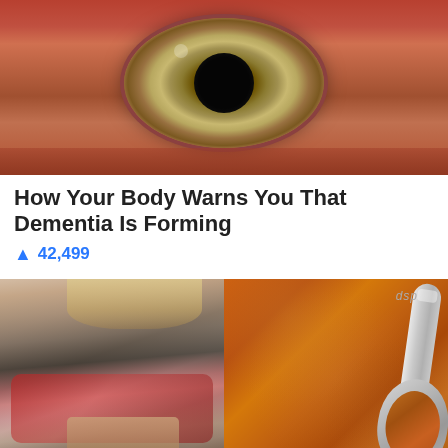[Figure (photo): Close-up macro photograph of a human eye, showing detailed iris texture in green-brown tones with reddish surrounding skin tissue]
How Your Body Warns You That Dementia Is Forming
🔥 42,499
[Figure (photo): Split image: left half shows a muscular woman in a gym showing her abs wearing black and red athletic wear; right half shows a metal measuring spoon (tsp) filled with orange-brown spice powder against a spice background]